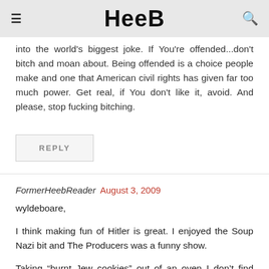Heeb
into the world's biggest joke. If You're offended...don't bitch and moan about. Being offended is a choice people make and one that American civil rights has given far too much power. Get real, if You don't like it, avoid. And please, stop fucking bitching.
REPLY
FormerHeebReader August 3, 2009
wyldeboare,
I think making fun of Hitler is great. I enjoyed the Soup Nazi bit and The Producers was a funny show.
Taking “burnt Jew cookies” out of an oven I don’t find funny. I